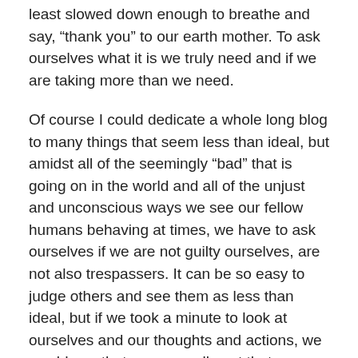least slowed down enough to breathe and say, “thank you” to our earth mother. To ask ourselves what it is we truly need and if we are taking more than we need.
Of course I could dedicate a whole long blog to many things that seem less than ideal, but amidst all of the seemingly “bad” that is going on in the world and all of the unjust and unconscious ways we see our fellow humans behaving at times, we have to ask ourselves if we are not guilty ourselves, are not also trespassers. It can be so easy to judge others and see them as less than ideal, but if we took a minute to look at ourselves and our thoughts and actions, we would see that we are really not that different. We are also far from being perfect or ideal.
Life can be scary. The new and unknown can be frightening but even more scary than all that is going on